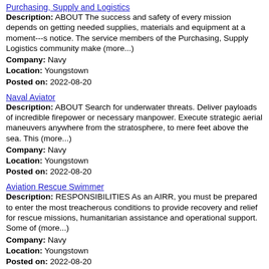Purchasing, Supply and Logistics
Description: ABOUT The success and safety of every mission depends on getting needed supplies, materials and equipment at a moment---s notice. The service members of the Purchasing, Supply Logistics community make (more...)
Company: Navy
Location: Youngstown
Posted on: 2022-08-20
Naval Aviator
Description: ABOUT Search for underwater threats. Deliver payloads of incredible firepower or necessary manpower. Execute strategic aerial maneuvers anywhere from the stratosphere, to mere feet above the sea. This (more...)
Company: Navy
Location: Youngstown
Posted on: 2022-08-20
Aviation Rescue Swimmer
Description: RESPONSIBILITIES As an AIRR, you must be prepared to enter the most treacherous conditions to provide recovery and relief for rescue missions, humanitarian assistance and operational support. Some of (more...)
Company: Navy
Location: Youngstown
Posted on: 2022-08-20
Surface Warfare Officer